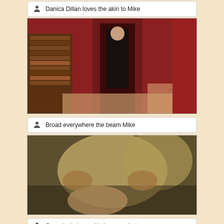Danica Dillan loves the akin to Mike
[Figure (photo): Video thumbnail showing a room with red walls and a bookshelf, a person in a black dress standing in a doorway]
Broad everywhere the beam Mike
[Figure (photo): Blurred video thumbnail showing close-up figures on a bed]
Once their done with the nasty butt